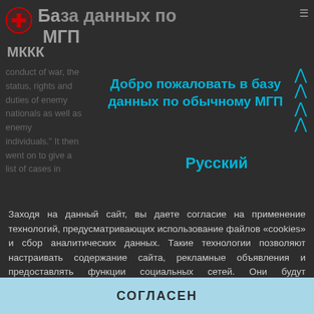База данных по МГП МККК
conduct of war, the status, rights and duties of enemy nationals as well as enemy individuals." It then went on to give a list of cases in
Добро пожаловать в базу данных по обычному МГП
Русский
Заходя на данный сайт, вы даете согласие на применение технологий, предусматривающих использование файлов «cookies» и сбор аналитических данных. Такие технологии позволяют настраивать содержание сайта, рекламные объявления и предоставлять функции социальных сетей. Они будут использоваться для анализа посещений сайта, что позволит нам понять предпочтения посетителей и улучшить предоставляемые услуги. Узнать больше
СОГЛАСЕН